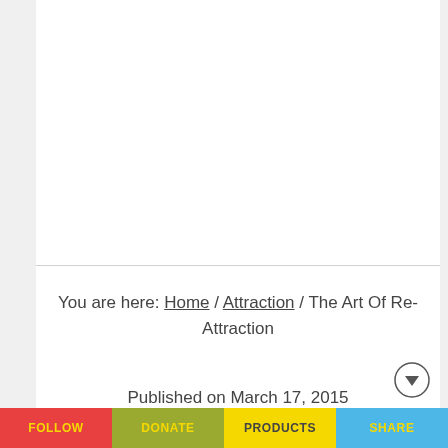You are here: Home / Attraction / The Art Of Re-Attraction
Published on March 17, 2015
FOLLOW | DONATE | PRODUCTS | SHARE